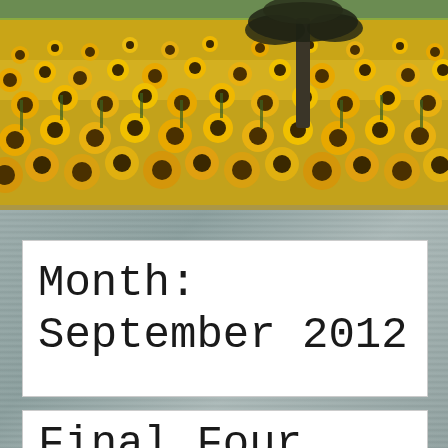[Figure (photo): Landscape photograph of a vast sunflower field in full bloom, with a single dark tree visible in the background against a sky. The sunflowers are bright yellow filling almost the entire frame.]
Month: September 2012
Final Four